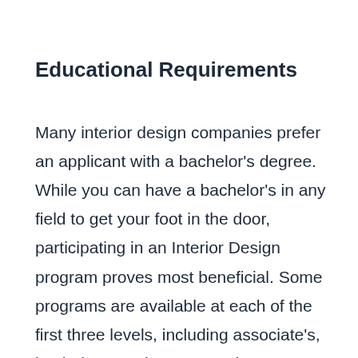Educational Requirements
Many interior design companies prefer an applicant with a bachelor's degree. While you can have a bachelor's in any field to get your foot in the door, participating in an Interior Design program proves most beneficial. Some programs are available at each of the first three levels, including associate's, bachelor's, and master's. The most commonly required classes in this field are computer-aided design (CAD), drawing, and interior design.